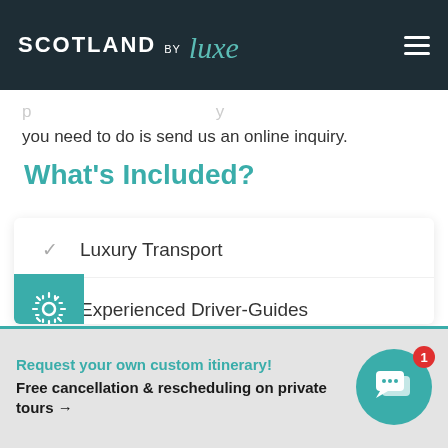SCOTLAND BY Luxe
you need to do is send us an online inquiry.
What's Included?
Luxury Transport
Experienced Driver-Guides
Request your own custom itinerary! Free cancellation & rescheduling on private tours →